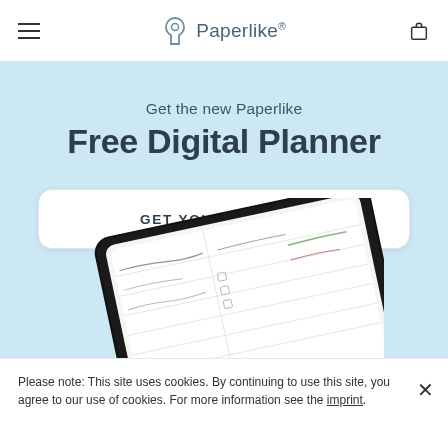Paperlike
Get the new Paperlike Free Digital Planner
GET YOUR PLANNER
[Figure (screenshot): A tablet (iPad) showing a digital planner with handwritten notes, partially visible at the bottom of the light blue section.]
Please note: This site uses cookies. By continuing to use this site, you agree to our use of cookies. For more information see the imprint.